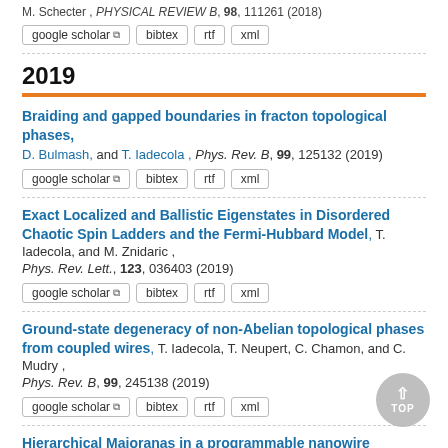M. Schecter , PHYSICAL REVIEW B, 98, 111261 (2018)
google scholar | bibtex | rtf | xml
2019
Braiding and gapped boundaries in fracton topological phases, D. Bulmash, and T. Iadecola , Phys. Rev. B, 99, 125132 (2019)
google scholar | bibtex | rtf | xml
Exact Localized and Ballistic Eigenstates in Disordered Chaotic Spin Ladders and the Fermi-Hubbard Model, T. Iadecola, and M. Znidaric , Phys. Rev. Lett., 123, 036403 (2019)
google scholar | bibtex | rtf | xml
Ground-state degeneracy of non-Abelian topological phases from coupled wires, T. Iadecola, T. Neupert, C. Chamon, and C. Mudry , Phys. Rev. B, 99, 245138 (2019)
google scholar | bibtex | rtf | xml
Hierarchical Majoranas in a programmable nanowire network,